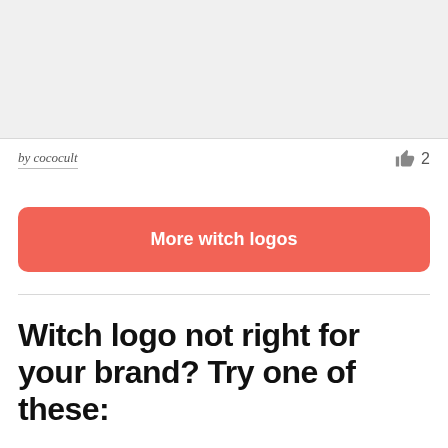[Figure (other): Gray placeholder image area at the top of the page]
by cococult
👍 2
More witch logos
Witch logo not right for your brand? Try one of these: